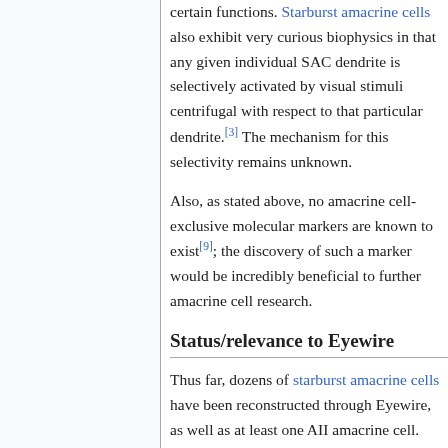certain functions. Starburst amacrine cells also exhibit very curious biophysics in that any given individual SAC dendrite is selectively activated by visual stimuli centrifugal with respect to that particular dendrite.[3] The mechanism for this selectivity remains unknown.
Also, as stated above, no amacrine cell-exclusive molecular markers are known to exist[9]; the discovery of such a marker would be incredibly beneficial to further amacrine cell research.
Status/relevance to Eyewire
Thus far, dozens of starburst amacrine cells have been reconstructed through Eyewire, as well as at least one AII amacrine cell.
References